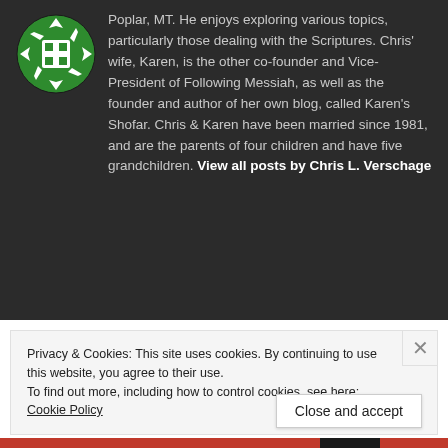[Figure (logo): Circular green logo with white geometric diamond/cross pattern]
Fort Pek Community College in Poplar, MT. He enjoys exploring various topics, particularly those dealing with the Scriptures. Chris' wife, Karen, is the other co-founder and Vice-President of Following Messiah, as well as the founder and author of her own blog, called Karen's Shofar. Chris & Karen have been married since 1981, and are the parents of four children and have five grandchildren. View all posts by Chris L. Verschage
Privacy & Cookies: This site uses cookies. By continuing to use this website, you agree to their use.
To find out more, including how to control cookies, see here: Cookie Policy
Close and accept